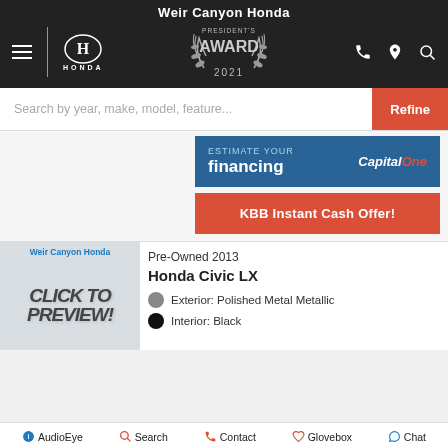Weir Canyon Honda
[Figure (screenshot): Honda dealer website header with Honda logo, Presidents Award 2021 badge, hamburger menu, phone, location, and search icons on dark background]
Search by year, make, model, feature...
Refine
financing  Capital One
KBB Instant Cash Offer!
[Figure (photo): Car listing thumbnail with Weir Canyon Honda branding and CLICK TO PREVIEW text]
Pre-Owned 2013
Honda Civic LX
Exterior: Polished Metal Metallic
Interior: Black
AudioEye  Search  Contact  Glovebox  Chat